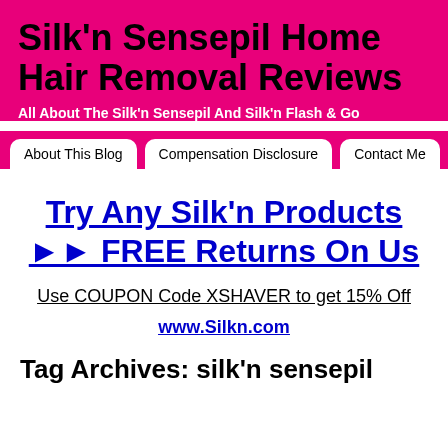Silk'n Sensepil Home Hair Removal Reviews
All About The Silk'n Sensepil And Silk'n Flash & Go
About This Blog | Compensation Disclosure | Contact Me | Priva...
Try Any Silk'n Products ►► FREE Returns On Us
Use COUPON Code XSHAVER to get 15% Off
www.Silkn.com
Tag Archives: silk'n sensepil